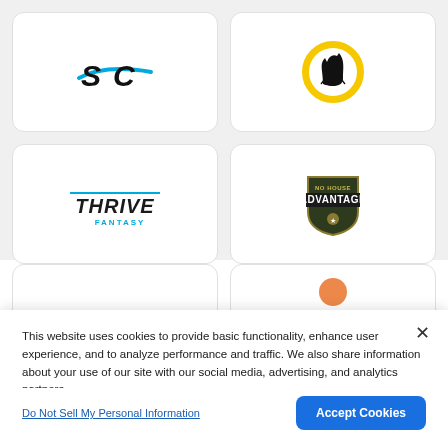[Figure (logo): Speedway Motorsports logo – bold italic S C letters in black with blue swoosh]
[Figure (logo): Circle logo with gold ring and black cat/animal silhouette inside]
[Figure (logo): Thrive Fantasy logo – THRIVE in tall italic letters with blue underline and FANTASY below]
[Figure (logo): No House Advantage shield/badge logo in dark green with gold text]
[Figure (logo): Partial card with small orange dot/logo partially visible]
[Figure (logo): Partial card with small orange partial logo visible]
This website uses cookies to provide basic functionality, enhance user experience, and to analyze performance and traffic. We also share information about your use of our site with our social media, advertising, and analytics partners.
By using this website you agree to our Terms of Use.
Do Not Sell My Personal Information
Accept Cookies